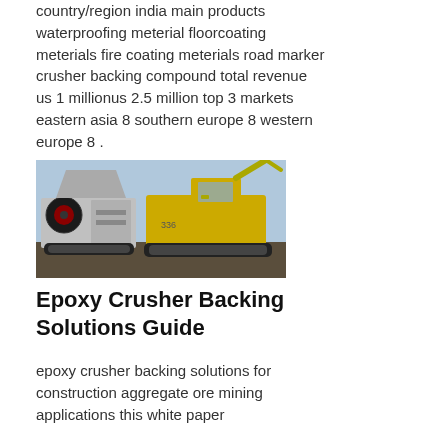country/region india main products waterproofing meterial floorcoating meterials fire coating meterials road marker crusher backing compound total revenue us 1 millionus 2.5 million top 3 markets eastern asia 8 southern europe 8 western europe 8 .
[Figure (photo): Photo of industrial mining/construction machinery including a jaw crusher with red flywheel and a yellow excavator/crane in an outdoor setting]
Epoxy Crusher Backing Solutions Guide
epoxy crusher backing solutions for construction aggregate ore mining applications this white paper